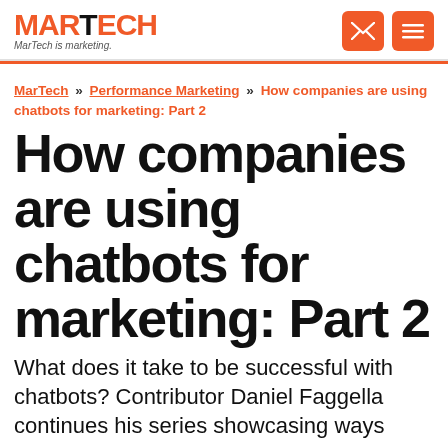MARTECH — MarTech is marketing.
MarTech » Performance Marketing » How companies are using chatbots for marketing: Part 2
How companies are using chatbots for marketing: Part 2
What does it take to be successful with chatbots? Contributor Daniel Faggella continues his series showcasing ways